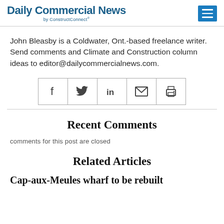Daily Commercial News by ConstructConnect
John Bleasby is a Coldwater, Ont.-based freelance writer. Send comments and Climate and Construction column ideas to editor@dailycommercialnews.com.
[Figure (other): Social share buttons row: Facebook, Twitter, LinkedIn, Email, Print]
Recent Comments
comments for this post are closed
Related Articles
Cap-aux-Meules wharf to be rebuilt